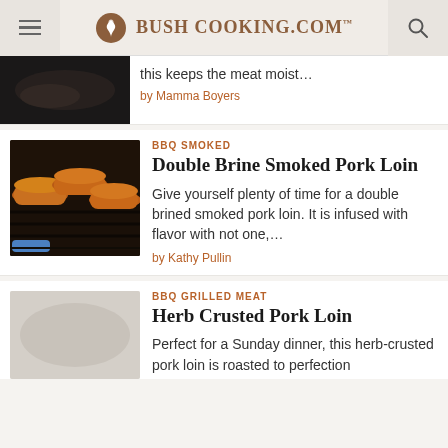Bush Cooking.com
this keeps the meat moist…
by Mamma Boyers
BBQ SMOKED
Double Brine Smoked Pork Loin
Give yourself plenty of time for a double brined smoked pork loin. It is infused with flavor with not one,…
by Kathy Pullin
BBQ GRILLED MEAT
Herb Crusted Pork Loin
Perfect for a Sunday dinner, this herb-crusted pork loin is roasted to perfection